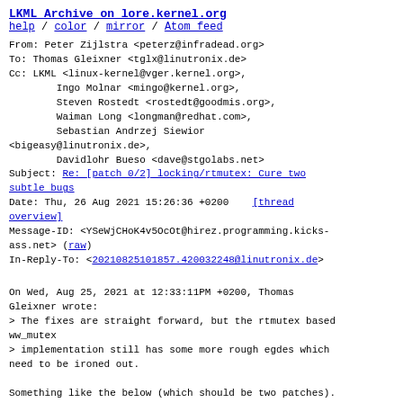LKML Archive on lore.kernel.org
help / color / mirror / Atom feed
From: Peter Zijlstra <peterz@infradead.org>
To: Thomas Gleixner <tglx@linutronix.de>
Cc: LKML <linux-kernel@vger.kernel.org>,
        Ingo Molnar <mingo@kernel.org>,
        Steven Rostedt <rostedt@goodmis.org>,
        Waiman Long <longman@redhat.com>,
        Sebastian Andrzej Siewior
<bigeasy@linutronix.de>,
        Davidlohr Bueso <dave@stgolabs.net>
Subject: Re: [patch 0/2] locking/rtmutex: Cure two subtle bugs
Date: Thu, 26 Aug 2021 15:26:36 +0200    [thread overview]
Message-ID: <YSeWjCHoK4v5OcOt@hirez.programming.kicks-ass.net> (raw)
In-Reply-To: <20210825101857.420032248@linutronix.de>
On Wed, Aug 25, 2021 at 12:33:11PM +0200, Thomas Gleixner wrote:
> The fixes are straight forward, but the rtmutex based ww_mutex
> implementation still has some more rough egdes which need to be ironed out.

Something like the below (which should be two patches).

There's two issues at hand: